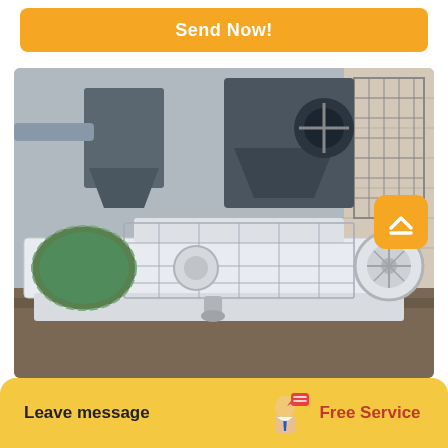Send Now!
[Figure (photo): Industrial heavy machinery (jaw crusher / roller crusher) painted white, with green motor wrapped in plastic, seated on a steel frame in a factory yard. Background shows large dark gray industrial hoppers and a brick wall.]
Leave message
Free Service